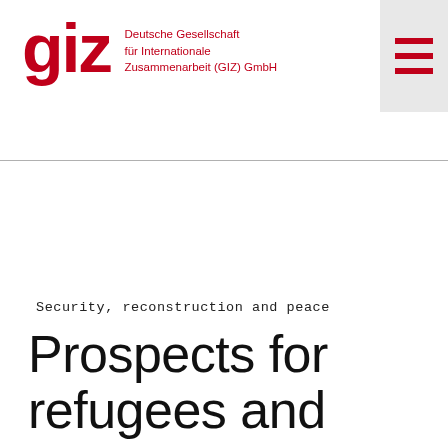giz — Deutsche Gesellschaft für Internationale Zusammenarbeit (GIZ) GmbH
Security, reconstruction and peace
Prospects for refugees and